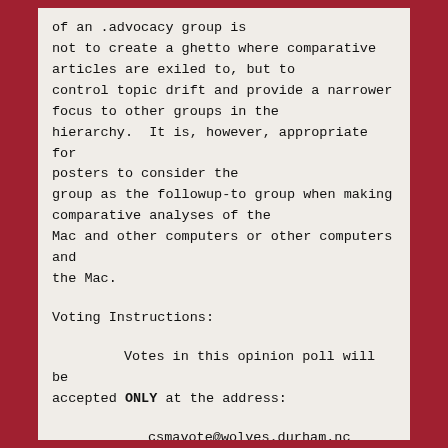of an .advocacy group is not to create a ghetto where comparative articles are exiled to, but to control topic drift and provide a narrower focus to other groups in the hierarchy.  It is, however, appropriate for posters to consider the group as the followup-to group when making comparative analyses of the Mac and other computers or other computers and the Mac.
Voting Instructions:
Votes in this opinion poll will be accepted ONLY at the address:
csmavote@wolves.durham.nc
Votes mailed elsewhere, or votes that